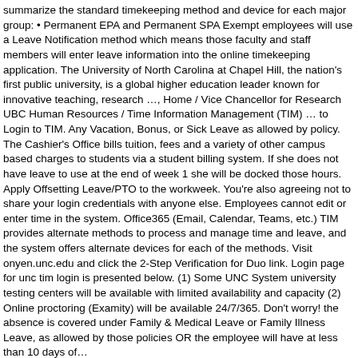summarize the standard timekeeping method and device for each major group: • Permanent EPA and Permanent SPA Exempt employees will use a Leave Notification method which means those faculty and staff members will enter leave information into the online timekeeping application. The University of North Carolina at Chapel Hill, the nation's first public university, is a global higher education leader known for innovative teaching, research …, Home / Vice Chancellor for Research UBC Human Resources / Time Information Management (TIM) … to Login to TIM. Any Vacation, Bonus, or Sick Leave as allowed by policy. The Cashier's Office bills tuition, fees and a variety of other campus based charges to students via a student billing system. If she does not have leave to use at the end of week 1 she will be docked those hours. Apply Offsetting Leave/PTO to the workweek. You're also agreeing not to share your login credentials with anyone else. Employees cannot edit or enter time in the system. Office365 (Email, Calendar, Teams, etc.) TIM provides alternate methods to process and manage time and leave, and the system offers alternate devices for each of the methods. Visit onyen.unc.edu and click the 2-Step Verification for Duo link. Login page for unc tim login is presented below. (1) Some UNC System university testing centers will be available with limited availability and capacity (2) Online proctoring (Examity) will be available 24/7/365. Don't worry! the absence is covered under Family & Medical Leave or Family Illness Leave, as allowed by those policies OR the employee will have at less than 10 days of…